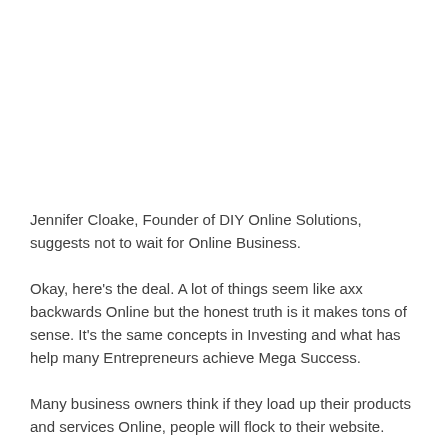Jennifer Cloake, Founder of DIY Online Solutions, suggests not to wait for Online Business.
Okay, here's the deal. A lot of things seem like axx backwards Online but the honest truth is it makes tons of sense. It's the same concepts in Investing and what has help many Entrepreneurs achieve Mega Success.
Many business owners think if they load up their products and services Online, people will flock to their website.